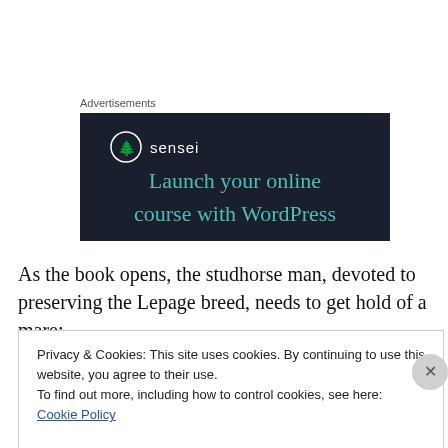Advertisements
[Figure (illustration): Sensei advertisement banner with dark navy background showing the Sensei logo (tree icon in circle) and the text 'Launch your online course with WordPress']
As the book opens, the studhorse man, devoted to preserving the Lepage breed, needs to get hold of a mare:
Privacy & Cookies: This site uses cookies. By continuing to use this website, you agree to their use.
To find out more, including how to control cookies, see here: Cookie Policy
Close and accept